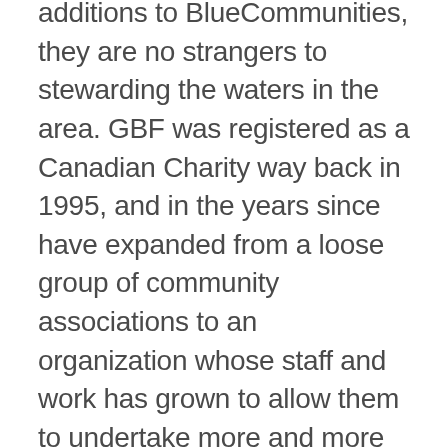additions to BlueCommunities, they are no strangers to stewarding the waters in the area. GBF was registered as a Canadian Charity way back in 1995, and in the years since have expanded from a loose group of community associations to an organization whose staff and work has grown to allow them to undertake more and more ecosystem protection projects.
Perhaps most important of all, working alongside enthusiastic communities and businesses who support their work has allowed GBF to have a tangible impact on the Georgian Bay. They have helped cut invasive phragmites (an aggressive wetland grass which outcompetes native flora),